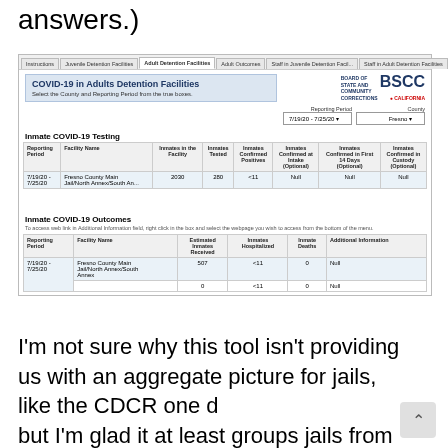answers.)
[Figure (screenshot): Screenshot of BSCC COVID-19 in Adults Detention Facilities dashboard showing tabs, header with logo, dropdowns for Reporting Period (7/19/20-7/25/20) and County (Fresno), Inmate COVID-19 Testing table, and Inmate COVID-19 Outcomes table]
I'm not sure why this tool isn't providing us with an aggregate picture for jails, like the CDCR one does, but I'm glad it at least groups jails from the same county on the same page. I would have liked to see